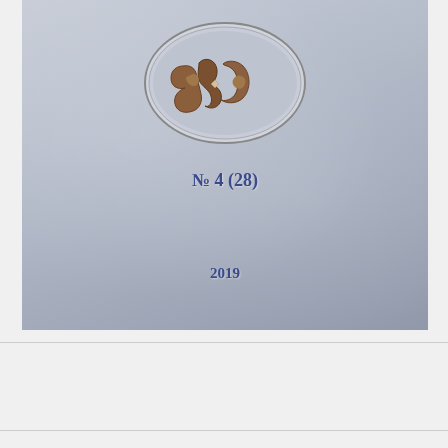[Figure (illustration): Journal cover with grey textured background. Central oval emblem/medallion with ornate metallic letters. Below the emblem: issue number 'No 4 (28)' in dark blue. Near bottom of cover: year '2019' in dark blue.]
PDF